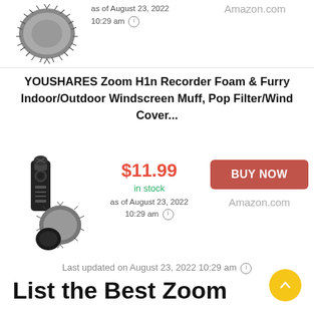[Figure (photo): Furry windscreen muff product image (partial, top of page)]
as of August 23, 2022 10:29 am (i)
Amazon.com
YOUSHARES Zoom H1n Recorder Foam & Furry Indoor/Outdoor Windscreen Muff, Pop Filter/Wind Cover...
[Figure (photo): YOUSHARES product image showing Zoom H1n recorder with foam and furry windscreen accessories]
$11.99
in stock
as of August 23, 2022
10:29 am (i)
BUY NOW
Amazon.com
Last updated on August 23, 2022 10:29 am (i)
List the Best Zoom